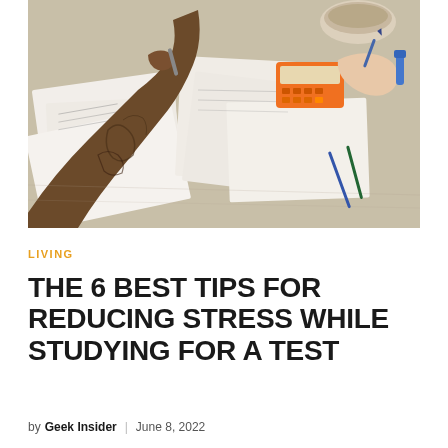[Figure (photo): Overhead photo of two people studying at a table covered with handwritten notes and papers, one person has tattooed arm holding a pen, an orange calculator is visible, and a bowl and drinks in the background]
LIVING
THE 6 BEST TIPS FOR REDUCING STRESS WHILE STUDYING FOR A TEST
by Geek Insider | June 8, 2022